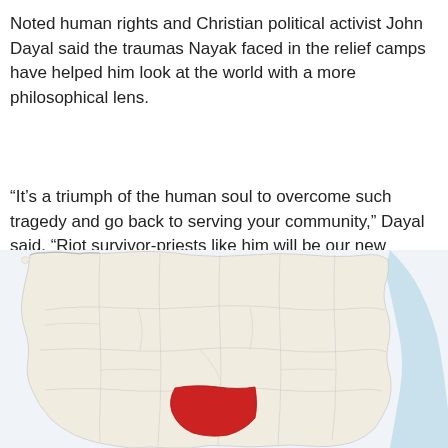Noted human rights and Christian political activist John Dayal said the traumas Nayak faced in the relief camps have helped him look at the world with a more philosophical lens.
“It’s a triumph of the human soul to overcome such tragedy and go back to serving your community,” Dayal said. “Riot survivor-priests like him will be our new teachers and animators.”
[Figure (map): Map of a region of India (Andhra Pradesh / Telangana area) with district boundaries shown. One district highlighted in red in the south-central area. Coastal area in light blue on the right side.]